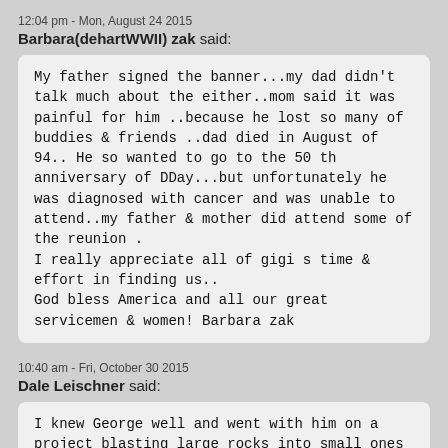12:04 pm - Mon, August 24 2015
Barbara(dehartWWII) zak said:
My father signed the banner...my dad didn't talk much about the either..mom said it was painful for him ..because he lost so many of buddies & friends ..dad died in August of 94.. He so wanted to go to the 50 th anniversary of DDay...but unfortunately he was diagnosed with cancer and was unable to attend..my father & mother did attend some of the reunion .
I really appreciate all of gigi s time & effort in finding us..
God bless America and all our great servicemen & women! Barbara zak
10:40 am - Fri, October 30 2015
Dale Leischner said:
I knew George well and went with him on a project blasting large rocks into small ones to be used for rip rap at Big Bend Dam. I think he got